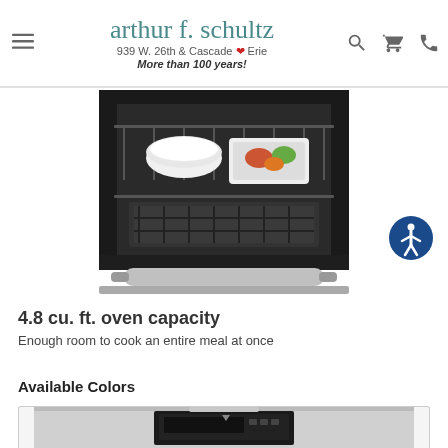arthur f. schultz — 939 W. 26th & Cascade ❤ Erie — More than 100 years!
[Figure (photo): Open oven interior showing two white ceramic dishes with food on upper rack and a roasting pan on lower rack; bottom of oven has a broiler drawer. Stainless steel oven door handle visible at bottom.]
4.8 cu. ft. oven capacity
Enough room to cook an entire meal at once
Available Colors
[Figure (photo): Partial view of oven control panel/display in stainless steel finish]